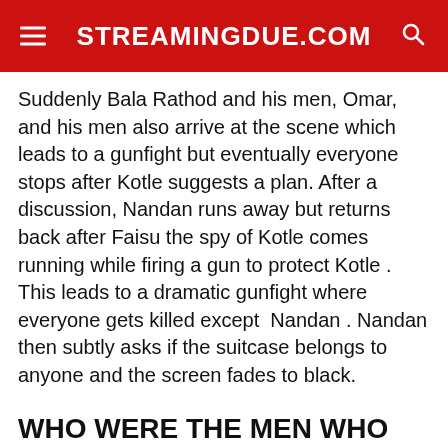STREAMINGDUE.COM
Suddenly Bala Rathod and his men, Omar, and his men also arrive at the scene which leads to a gunfight but eventually everyone stops after Kotle suggests a plan. After a discussion, Nandan runs away but returns back after Faisu the spy of Kotle comes running while firing a gun to protect Kotle . This leads to a dramatic gunfight where everyone gets killed except  Nandan . Nandan then subtly asks if the suitcase belongs to anyone and the screen fades to black.
WHO WERE THE MEN WHO KILLED MINISTER TRIPATHI?
Well in the final scene we see that Minister